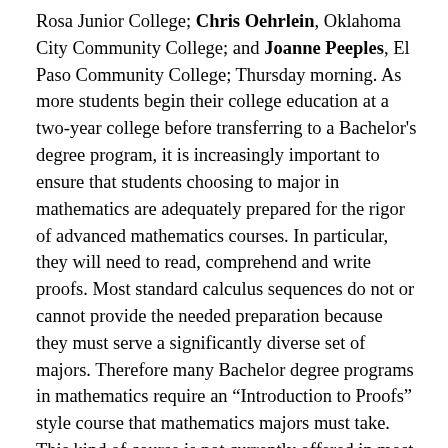Rosa Junior College; Chris Oehrlein, Oklahoma City Community College; and Joanne Peeples, El Paso Community College; Thursday morning. As more students begin their college education at a two-year college before transferring to a Bachelor's degree program, it is increasingly important to ensure that students choosing to major in mathematics are adequately prepared for the rigor of advanced mathematics courses. In particular, they will need to read, comprehend and write proofs. Most standard calculus sequences do not or cannot provide the needed preparation because they must serve a significantly diverse set of majors. Therefore many Bachelor degree programs in mathematics require an “Introduction to Proofs” style course that mathematics majors must take. This kind of course is not currently offered in most two-year college mathematics programs. We invite faculty from two and four-year institutions to share: 1. Introduction to Proofs and Mathematical Reasoning courses for students who